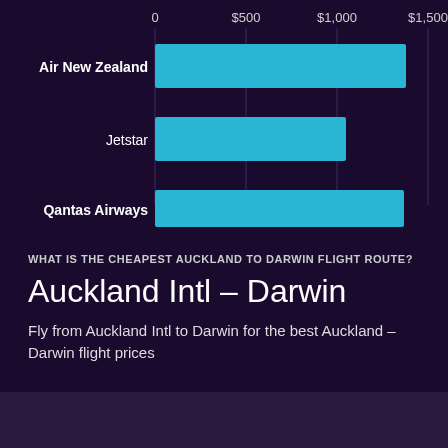[Figure (bar-chart): Airlines Auckland to Darwin]
WHAT IS THE CHEAPEST AUCKLAND TO DARWIN FLIGHT ROUTE?
Auckland Intl – Darwin
Fly from Auckland Intl to Darwin for the best Auckland – Darwin flight prices